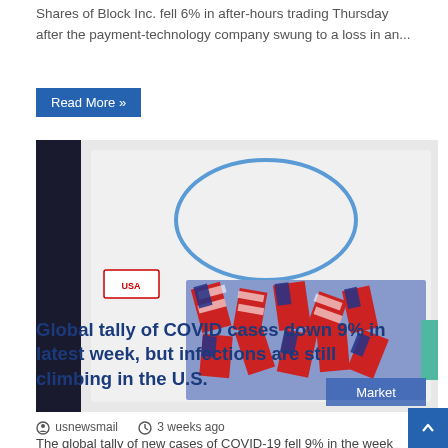Shares of Block Inc. fell 6% in after-hours trading Thursday after the payment-technology company swung to a loss in an...
Read More »
[Figure (photo): A clear plastic bag labeled 'DISPOSABLE MASK' and 'USA' containing folded face masks with American flag pattern in red, white, and blue. A 'Market' badge appears in the bottom right corner of the image.]
usnewsmail   3 weeks ago
Global tally of COVID cases down 9% in latest week, but infections are still climbing in the U.S.
The global tally of new cases of COVID-19 fell 9% in the week through July 31, according to the World...